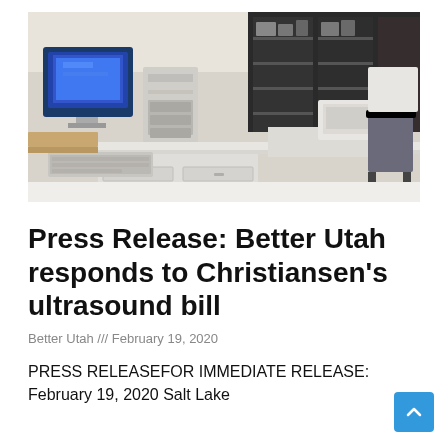[Figure (photo): Laboratory or medical office interior with old computer equipment, workbenches with drawers, shelving units full of equipment, and a chair in the background.]
Press Release: Better Utah responds to Christiansen's ultrasound bill
Better Utah /// February 19, 2020
PRESS RELEASEFOR IMMEDIATE RELEASE: February 19, 2020 Salt Lake